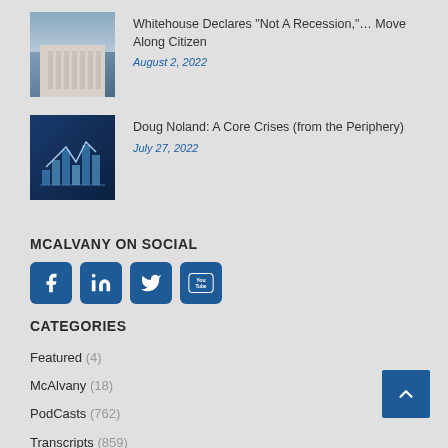[Figure (photo): Federal Reserve building photo thumbnail]
Whitehouse Declares "Not A Recession,"… Move Along Citizen
August 2, 2022
[Figure (photo): Financial charts and stock market graph photo thumbnail]
Doug Noland: A Core Crises (from the Periphery)
July 27, 2022
MCALVANY ON SOCIAL
[Figure (other): Social media icons: Facebook, LinkedIn, Twitter, YouTube]
CATEGORIES
Featured (4)
McAlvany (18)
PodCasts (762)
Transcripts (859)